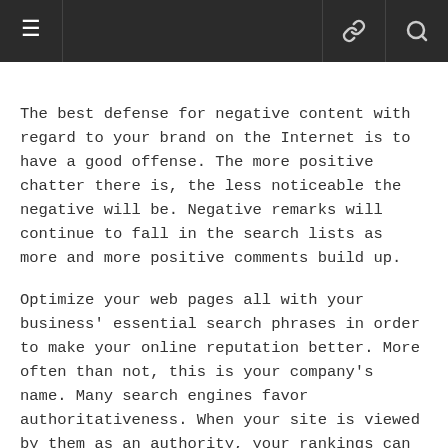≡   🔗 🔍
The best defense for negative content with regard to your brand on the Internet is to have a good offense. The more positive chatter there is, the less noticeable the negative will be. Negative remarks will continue to fall in the search lists as more and more positive comments build up.
Optimize your web pages all with your business' essential search phrases in order to make your online reputation better. More often than not, this is your company's name. Many search engines favor authoritativeness. When your site is viewed by them as an authority, your rankings can improve almost immediately.
Social Media